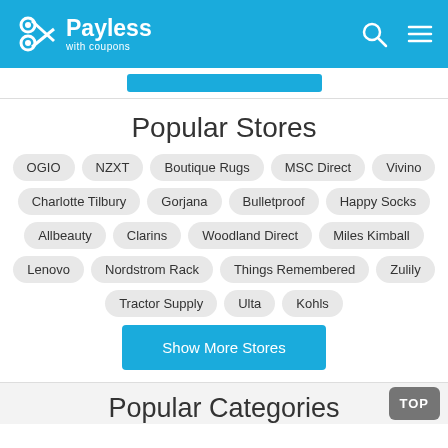Payless with coupons
Popular Stores
OGIO
NZXT
Boutique Rugs
MSC Direct
Vivino
Charlotte Tilbury
Gorjana
Bulletproof
Happy Socks
Allbeauty
Clarins
Woodland Direct
Miles Kimball
Lenovo
Nordstrom Rack
Things Remembered
Zulily
Tractor Supply
Ulta
Kohls
Show More Stores
Popular Categories